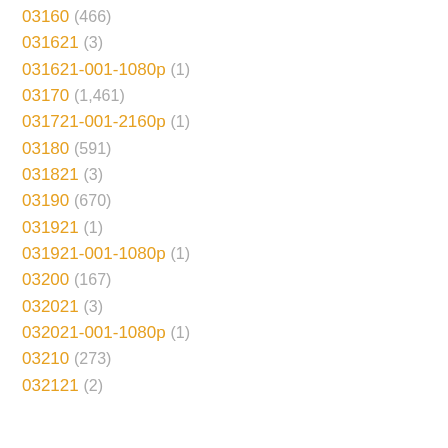03160 (466)
031621 (3)
031621-001-1080p (1)
03170 (1,461)
031721-001-2160p (1)
03180 (591)
031821 (3)
03190 (670)
031921 (1)
031921-001-1080p (1)
03200 (167)
032021 (3)
032021-001-1080p (1)
03210 (273)
032121 (2)